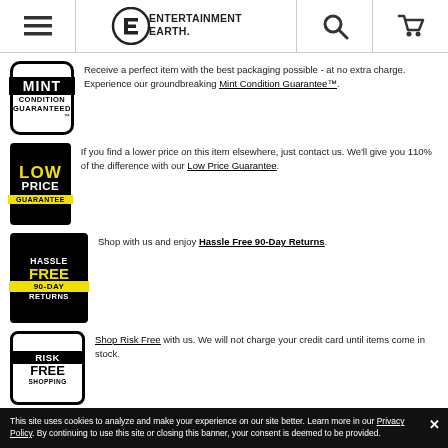[Figure (logo): Entertainment Earth website header with hamburger menu, logo, search and cart icons]
Receive a perfect item with the best packaging possible - at no extra charge. Experience our groundbreaking Mint Condition Guarantee™.
If you find a lower price on this item elsewhere, just contact us. We'll give you 110% of the difference with our Low Price Guarantee.
Shop with us and enjoy Hassle Free 90-Day Returns.
Shop Risk Free with us. We will not charge your credit card until items come in stock.
This site uses cookies to analyze and make your experience on our site better. Learn more in our Privacy Policy. By continuing to use this site or closing this banner, your consent is deemed to be provided.